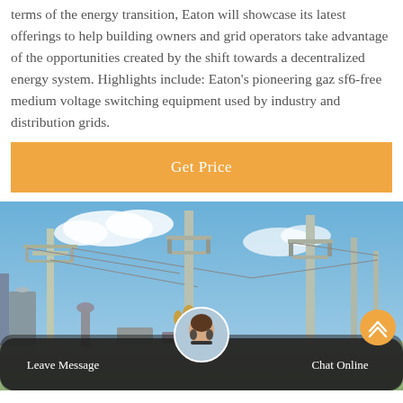terms of the energy transition, Eaton will showcase its latest offerings to help building owners and grid operators take advantage of the opportunities created by the shift towards a decentralized energy system. Highlights include: Eaton's pioneering gaz sf6-free medium voltage switching equipment used by industry and distribution grids.
[Figure (other): Orange 'Get Price' button]
[Figure (photo): Outdoor electrical substation with high-voltage switching equipment, insulators, metal poles, and clear blue sky. Chat bar overlay at bottom with avatar, 'Leave Message' on left, 'Chat Online' on right, and orange scroll-to-top button.]